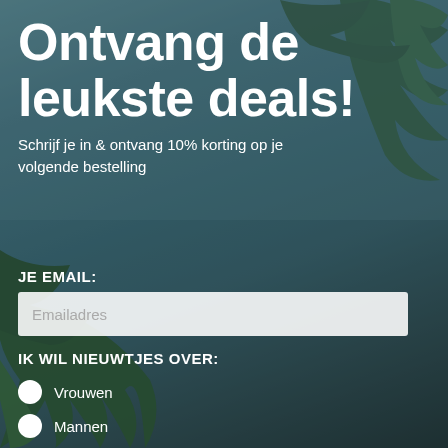[Figure (illustration): Background photo of palm tree leaves against a blue-grey sky, with a dark semi-transparent overlay. Tropical summer theme.]
Ontvang de leukste deals!
Schrijf je in & ontvang 10% korting op je volgende bestelling
JE EMAIL:
Emailadres
IK WIL NIEUWTJES OVER:
Vrouwen
Mannen
Kindercollectie